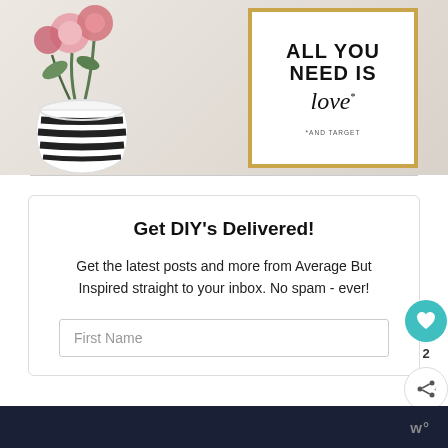[Figure (photo): A decorative vase with pink roses and a framed print that reads 'ALL YOU NEED IS love* *AND TARGET' on a light background]
Get DIY's Delivered!
Get the latest posts and more from Average But Inspired straight to your inbox. No spam - ever!
First Name
w°